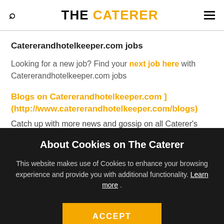THE CATERER
Catererandhotelkeeper.com jobs
Looking for a new job? Find your next job here with Catererandhotelkeeper.com jobs
Blogs on Catererandhotelkeeper.com ] (http://www.catererandhotelkeeper.com/blogs)
Catch up with more news and gossip on all Caterer's
About Cookies on The Caterer
This website makes use of Cookies to enhance your browsing experience and provide you with additional functionality. Learn more .
ACCEPT